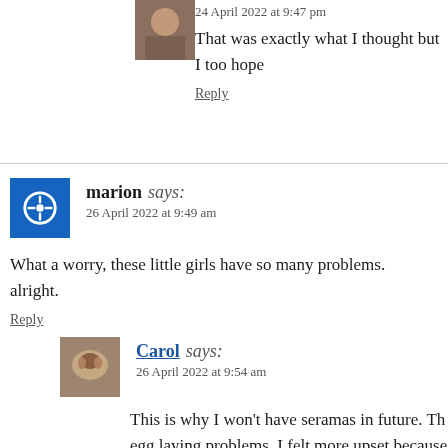24 April 2022 at 9:47 pm
That was exactly what I thought but I too hope
Reply
marion says:
26 April 2022 at 9:49 am
What a worry, these little girls have so many problems. alright.
Reply
Carol says:
26 April 2022 at 9:54 am
This is why I won't have seramas in future. Th egg laying problems. I felt more upset because just hope her next egg will be okay.